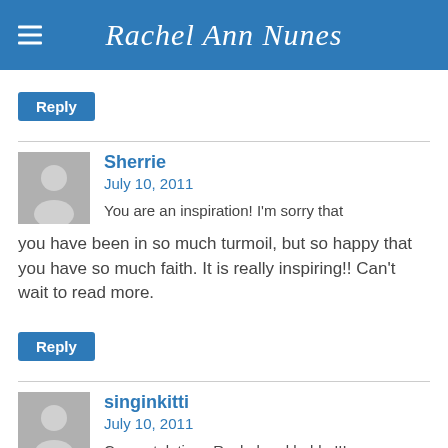Rachel Ann Nunes
Reply
Sherrie
July 10, 2011
You are an inspiration! I'm sorry that you have been in so much turmoil, but so happy that you have so much faith. It is really inspiring!! Can't wait to read more.
Reply
singinkitti
July 10, 2011
Congratulations Rachel and hubby!!! Your story brought tears to my eyes by the